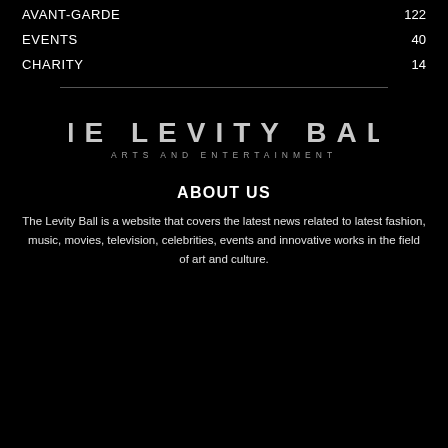AVANT-GARDE 122
EVENTS 40
CHARITY 14
[Figure (logo): The Levity Ball Arts and Entertainment logo — white uppercase text on black background]
ABOUT US
The Levity Ball is a website that covers the latest news related to latest fashion, music, movies, television, celebrities, events and innovative works in the field of art and culture.